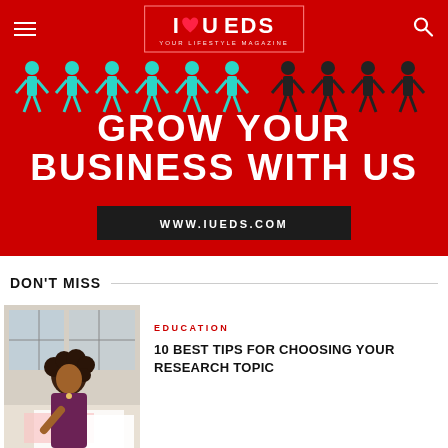I LOVE U EDS - YOUR LIFESTYLE MAGAZINE
[Figure (infographic): Red banner ad with stick figures (teal and black) above text 'GROW YOUR BUSINESS WITH US' and URL 'WWW.IUEDS.COM' on dark background]
DON'T MISS
[Figure (photo): Woman with curly hair writing at a desk with papers and books]
EDUCATION
10 BEST TIPS FOR CHOOSING YOUR RESEARCH TOPIC